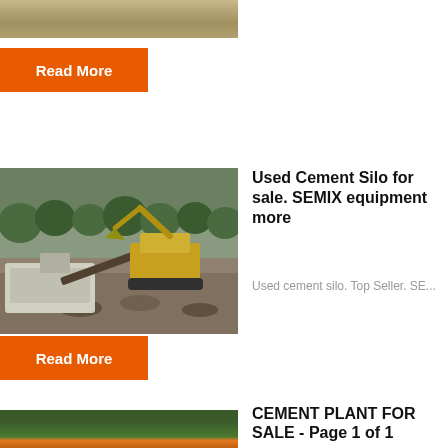[Figure (photo): Top partial image of a sandy/dirt landscape scene]
Read More
[Figure (photo): Construction site with excavator and crushing machinery on rocky ground, forest in background]
Used Cement Silo for sale. SEMIX equipment more
Used cement silo. Top Seller. SE...
Read More
[Figure (photo): Partial bottom image showing orange construction equipment and trees]
CEMENT PLANT FOR SALE - Page 1 of 1